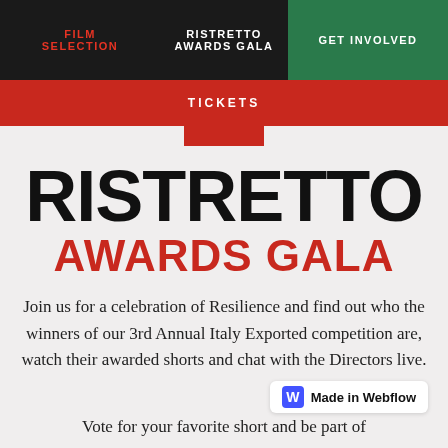FILM SELECTION | RISTRETTO AWARDS GALA | GET INVOLVED
TICKETS
RISTRETTO AWARDS GALA
Join us for a celebration of Resilience and find out who the winners of our 3rd Annual Italy Exported competition are, watch their awarded shorts and chat with the Directors live.
Made in Webflow
Vote for your favorite short and be part of